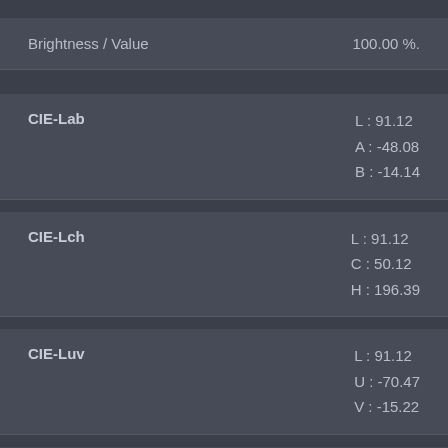| Property | Value |
| --- | --- |
| Brightness / Value | 100.00 %. |
| CIE-Lab | L : 91.12
A : -48.08
B : -14.14 |
| CIE-Lch | L : 91.12
C : 50.12
H : 196.39 |
| CIE-Luv | L : 91.12
U : -70.47
V : -15.22 |
| Hunter-Lab | L : 88.74
A : -47.04
B : -9.36 |